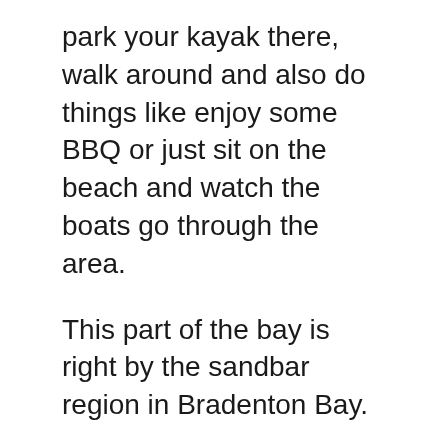park your kayak there, walk around and also do things like enjoy some BBQ or just sit on the beach and watch the boats go through the area.
This part of the bay is right by the sandbar region in Bradenton Bay.
This particular island has it's own little bay which goes into a great looking neighborhood which is part of Longboat Key, another beautiful area that is close to Bradenton and is worth kayaking through as well as enjoying a car drive